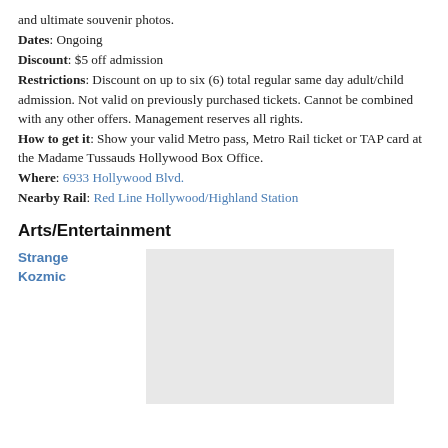and ultimate souvenir photos.
Dates: Ongoing
Discount: $5 off admission
Restrictions: Discount on up to six (6) total regular same day adult/child admission. Not valid on previously purchased tickets. Cannot be combined with any other offers. Management reserves all rights.
How to get it: Show your valid Metro pass, Metro Rail ticket or TAP card at the Madame Tussauds Hollywood Box Office.
Where: 6933 Hollywood Blvd.
Nearby Rail: Red Line Hollywood/Highland Station
Arts/Entertainment
Strange Kozmic
[Figure (photo): Image placeholder for Strange Kozmic entry]